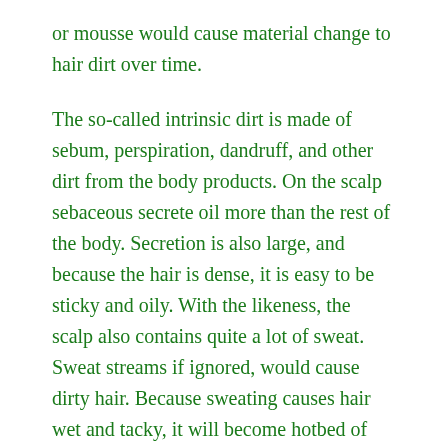or mousse would cause material change to hair dirt over time.
The so-called intrinsic dirt is made of sebum, perspiration, dandruff, and other dirt from the body products. On the scalp sebaceous secrete oil more than the rest of the body. Secretion is also large, and because the hair is dense, it is easy to be sticky and oily. With the likeness, the scalp also contains quite a lot of sweat. Sweat streams if ignored, would cause dirty hair. Because sweating causes hair wet and tacky, it will become hotbed of microorganisms.
Moreover, since the metabolism of the scalp, the outermost layer of skin cells would release